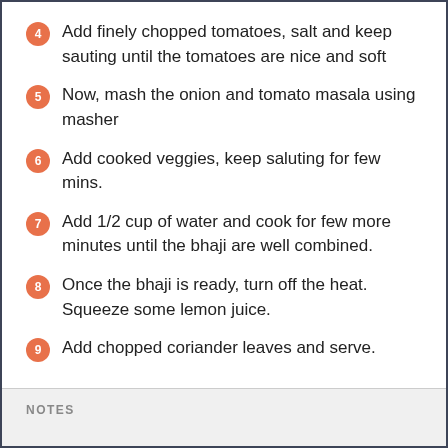4 Add finely chopped tomatoes, salt and keep sauting until the tomatoes are nice and soft
5 Now, mash the onion and tomato masala using masher
6 Add cooked veggies, keep saluting for few mins.
7 Add 1/2 cup of water and cook for few more minutes until the bhaji are well combined.
8 Once the bhaji is ready, turn off the heat. Squeeze some lemon juice.
9 Add chopped coriander leaves and serve.
NOTES